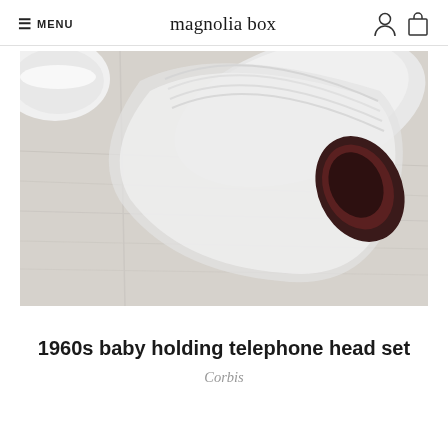≡ MENU  magnolia box
[Figure (photo): A rolled-up printed poster or paper lying on a light wood grain surface, with a white circular bowl partially visible in the upper left corner. The rolled paper shows a dark reddish-brown interior. The wood surface has a pale grey-white tone.]
1960s baby holding telephone head set
Corbis